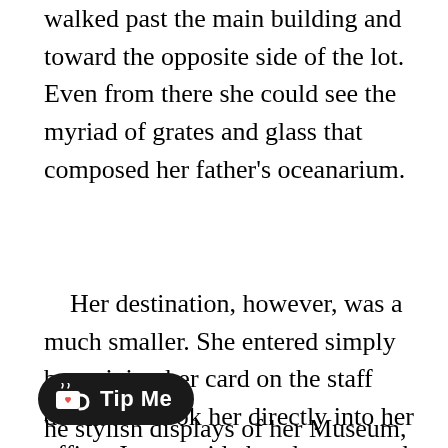walked past the main building and toward the opposite side of the lot. Even from there she could see the myriad of grates and glass that composed her father's oceanarium.
Her destination, however, was a much smaller. She entered simply by swiping her card on the staff door. This took her directly into her office. Just outside her door a much larger room could be seen, filled with secured display cases and tempered glass. This was where her dream had come true: a small museum dedicated the sharks and rays that had long since gone extinct.
[Figure (other): Ko-fi Tip Me button — dark rounded pill-shaped button with a Ko-fi cup icon (white cup with red heart) and white bold text 'Tip Me']
he stylish displays of her Museum, her office...